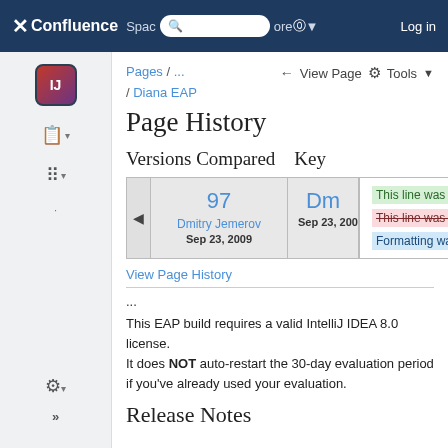Confluence — Spaces / ... / Diana EAP — Page History
Page History
Versions Compared   Key
[Figure (screenshot): Versions compared panel showing version 97 by Dmitry Jemerov on Sep 23, 2009, with a Key legend showing: This line was added (green), This line was removed (pink/strikethrough), Formatting was changed (blue).]
View Page History
...
This EAP build requires a valid IntelliJ IDEA 8.0 license. It does NOT auto-restart the 30-day evaluation period if you've already used your evaluation.
Release Notes